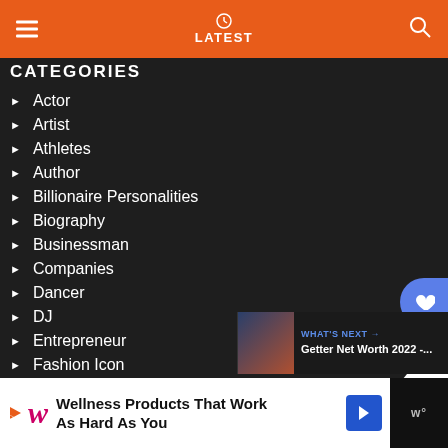LATEST
CATEGORIES
Actor
Artist
Athletes
Author
Billionaire Personalities
Biography
Businessman
Companies
Dancer
DJ
Entrepreneur
Fashion Icon
Gaming
Instagram Star
Internet Celebrities
Lawyers
WHAT'S NEXT → Getter Net Worth 2022 -...
Wellness Products That Work As Hard As You